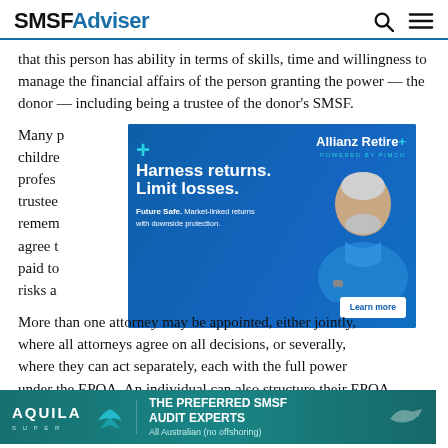SMSF Adviser
that this person has ability in terms of skills, time and willingness to manage the financial affairs of the person granting the power — the donor — including being a trustee of the donor's SMSF.
Many p[eople appoint their] children[, a] profes[sional,] trustee[...] remem[ber...] will agree t[...] can't be paid to[...] nd risks a[...]
[Figure (advertisement): Allianz Retire+ powered by PIMCO advertisement. Headline: Harness returns. Limit losses. Sub: Future Safe. Market-linked returns with downside protection. Learn more button. Shows older man in blue shirt.]
More t[han one attorney may be appointed, either jointr]y, where all attorneys agree on all decisions, or severally, where they can act separately, each with the full power under the EPOA. An individual can also structure their EPOA to inclu[de...] situati[...] or
[Figure (advertisement): AQUILA SUPER advertisement. THE PREFERRED SMSF AUDIT EXPERTS. All Australian (no offshoring).]